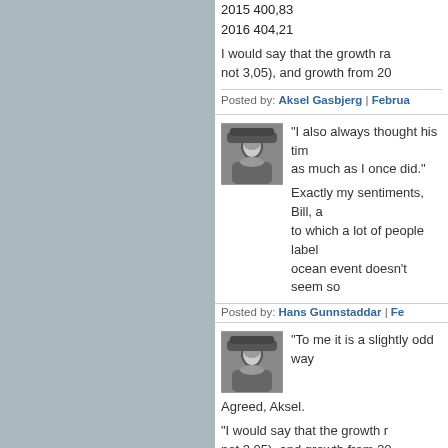2015 400,83
2016 404,21
I would say that the growth ra... not 3,05), and growth from 20...
Posted by: Aksel Gasbjerg | Februa...
[Figure (photo): Black and white photo of a person with long hair wearing a beanie hat]
"I also always thought his tim... as much as I once did."
Exactly my sentiments, Bill, a... to which a lot of people label... ocean event doesn't seem so...
Posted by: Hans Gunnstaddar | Fe...
[Figure (photo): Black and white photo of a person with long hair wearing a beanie hat]
"To me it is a slightly odd way...
Agreed, Aksel.
"I would say that the growth r... not 3,05), and growth from 20...
Ok, so different ways of calcu... MLO), also comes up with...